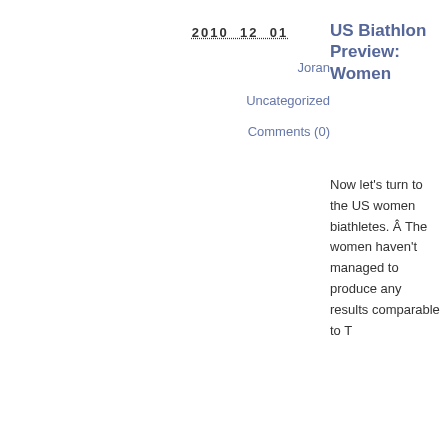2010  12  01
Joran
Uncategorized
Comments (0)
US Biathlon Preview: Women
Now let's turn to the US women biathletes. Â The women haven't managed to produce any results comparable to T...